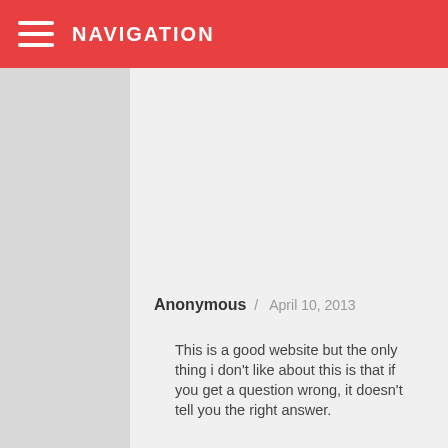NAVIGATION
Anonymous / April 10, 2013
This is a good website but the only thing i don't like about this is that if you get a question wrong, it doesn't tell you the right answer.